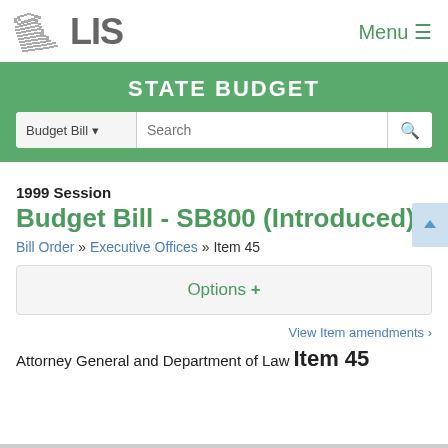LIS — Menu
STATE BUDGET
1999 Session
Budget Bill - SB800 (Introduced)
Bill Order » Executive Offices » Item 45
Options +
View Item amendments >
Attorney General and Department of Law  Item 45